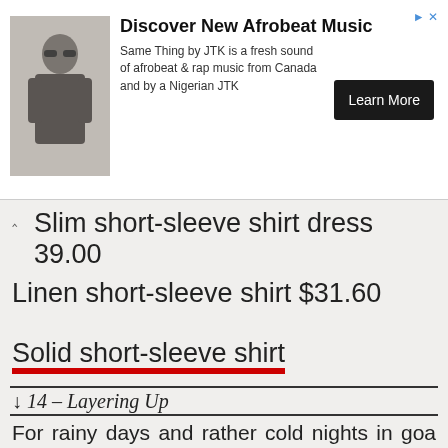[Figure (advertisement): Ad banner for 'Discover New Afrobeat Music' featuring a photo of a musician, text about Same Thing by JTK, and a Learn More button]
Slim short-sleeve shirt dress 39.00
Linen short-sleeve shirt $31.60
Solid short-sleeve shirt
↓ 14 – Layering Up
For rainy days and rather cold nights in goa when you need to layer on your